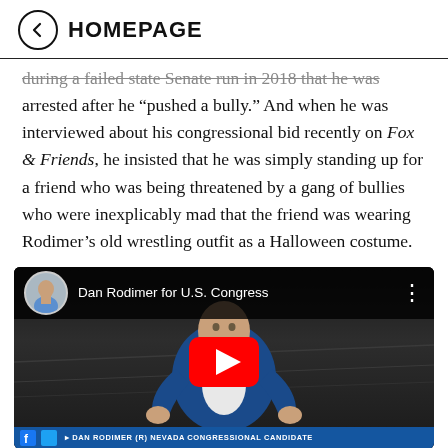HOMEPAGE
during a failed state Senate run in 2018 that he was arrested after he “pushed a bully.” And when he was interviewed about his congressional bid recently on Fox & Friends, he insisted that he was simply standing up for a friend who was being threatened by a gang of bullies who were inexplicably mad that the friend was wearing Rodimer’s old wrestling outfit as a Halloween costume.
[Figure (screenshot): YouTube video thumbnail showing Dan Rodimer for U.S. Congress with a bald man in a blue suit gesturing with his hands, a red YouTube play button overlay, and a blue lower-third bar reading DAN RODIMER (R) NEVADA CONGRESSIONAL CANDIDATE]